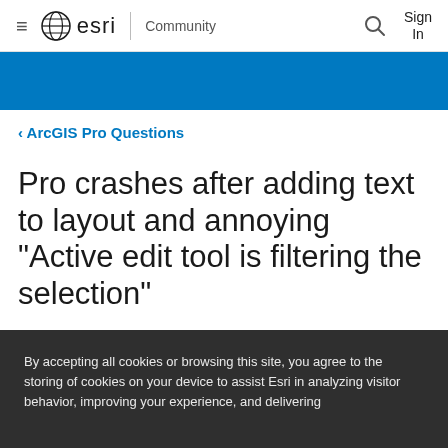≡ esri | Community   🔍   Sign In
[Figure (other): Blue decorative banner strip]
‹ ArcGIS Pro Questions
Pro crashes after adding text to layout and annoying "Active edit tool is filtering the selection"
By accepting all cookies or browsing this site, you agree to the storing of cookies on your device to assist Esri in analyzing visitor behavior, improving your experience, and delivering